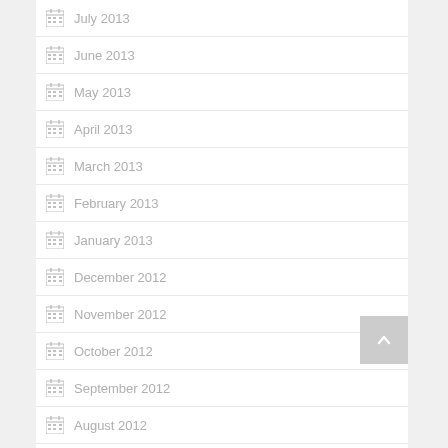July 2013
June 2013
May 2013
April 2013
March 2013
February 2013
January 2013
December 2012
November 2012
October 2012
September 2012
August 2012